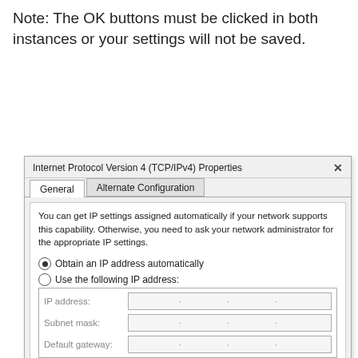Note: The OK buttons must be clicked in both instances or your settings will not be saved.
[Figure (screenshot): Windows Internet Protocol Version 4 (TCP/IPv4) Properties dialog box showing General and Alternate Configuration tabs, with radio buttons for IP address assignment (Obtain automatically selected) and DNS server settings (Use the following DNS server addresses selected), with input fields for IP address, subnet mask, default gateway, preferred DNS server, and alternate DNS server.]